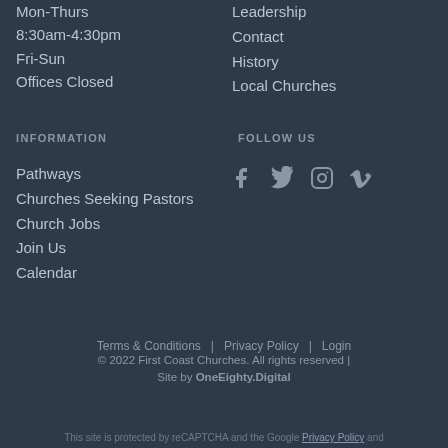Mon-Thurs
8:30am-4:30pm
Fri-Sun
Offices Closed
Leadership
Contact
History
Local Churches
INFORMATION
FOLLOW US
Pathways
Churches Seeking Pastors
Church Jobs
Join Us
Calendar
[Figure (infographic): Social media icons: Facebook, Twitter, Instagram, Vimeo]
Terms & Conditions | Privacy Policy | Login
© 2022 First Coast Churches. All rights reserved | Site by OneEighty.Digital
This site is protected by reCAPTCHA and the Google Privacy Policy and